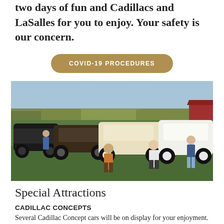two days of fun and Cadillacs and LaSalles for you to enjoy. Your safety is our concern.
COVID-19 PROCEDURES
[Figure (photo): Outdoor car show with vintage Cadillac and LaSalle automobiles on a grassy field, with people walking around. Cornfield and red barn in background.]
Special Attractions
CADILLAC CONCEPTS
Several Cadillac Concept cars will be on display for your enjoyment. For